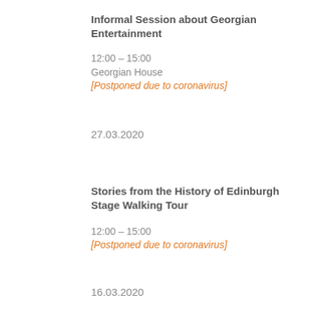Informal Session about Georgian Entertainment
12:00 – 15:00
Georgian House
[Postponed due to coronavirus]
27.03.2020
Stories from the History of Edinburgh Stage Walking Tour
12:00 – 15:00
[Postponed due to coronavirus]
16.03.2020